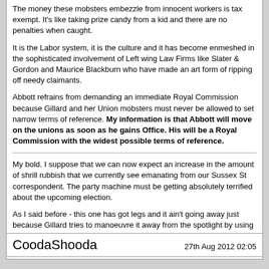The money these mobsters embezzle from innocent workers is tax exempt. It's like taking prize candy from a kid and there are no penalties when caught.
It is the Labor system, it is the culture and it has become enmeshed in the sophisticated involvement of Left wing Law Firms like Slater & Gordon and Maurice Blackburn who have made an art form of ripping off needy claimants.
Abbott refrains from demanding an immediate Royal Commission because Gillard and her Union mobsters must never be allowed to set narrow terms of reference. My information is that Abbott will move on the unions as soon as he gains Office. His will be a Royal Commission with the widest possible terms of reference.
My bold. I suppose that we can now expect an increase in the amount of shrill rubbish that we currently see emanating from our Sussex St correspondent. The party machine must be getting absolutely terrified about the upcoming election.
As I said before - this one has got legs and it ain't going away just because Gillard tries to manoeuvre it away from the spotlight by using personal abusive language that, if used by any of us, would get us banned by the moderators.
CoodaShooda   27th Aug 2012 02:05